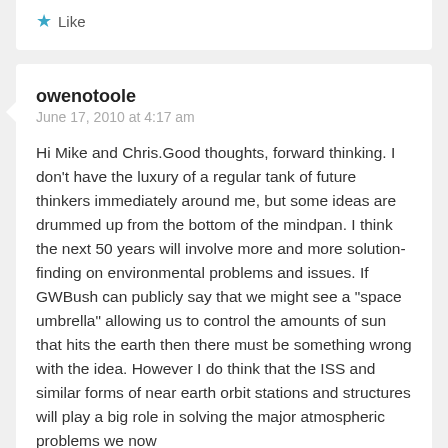to write for Evadot anytime.
Like
owenotoole
June 17, 2010 at 4:17 am
Hi Mike and Chris.Good thoughts, forward thinking. I don't have the luxury of a regular tank of future thinkers immediately around me, but some ideas are drummed up from the bottom of the mindpan. I think the next 50 years will involve more and more solution-finding on environmental problems and issues. If GWBush can publicly say that we might see a "space umbrella" allowing us to control the amounts of sun that hits the earth then there must be something wrong with the idea. However I do think that the ISS and similar forms of near earth orbit stations and structures will play a big role in solving the major atmospheric problems we now